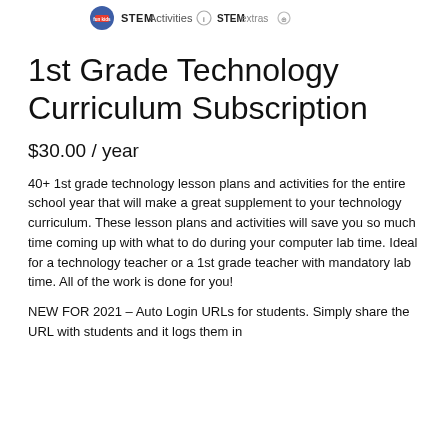[Logo area with icons and brand name]
1st Grade Technology Curriculum Subscription
$30.00 / year
40+ 1st grade technology lesson plans and activities for the entire school year that will make a great supplement to your technology curriculum. These lesson plans and activities will save you so much time coming up with what to do during your computer lab time. Ideal for a technology teacher or a 1st grade teacher with mandatory lab time. All of the work is done for you!
NEW FOR 2021 – Auto Login URLs for students. Simply share the URL with students and it logs them in